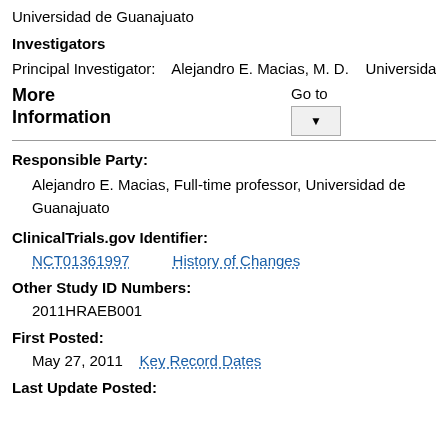Universidad de Guanajuato
Investigators
Principal Investigator:    Alejandro E. Macias, M. D.    Universidad de
More Information
Go to
Responsible Party:
Alejandro E. Macias, Full-time professor, Universidad de Guanajuato
ClinicalTrials.gov Identifier:
NCT01361997    History of Changes
Other Study ID Numbers:
2011HRAEB001
First Posted:
May 27, 2011    Key Record Dates
Last Update Posted: